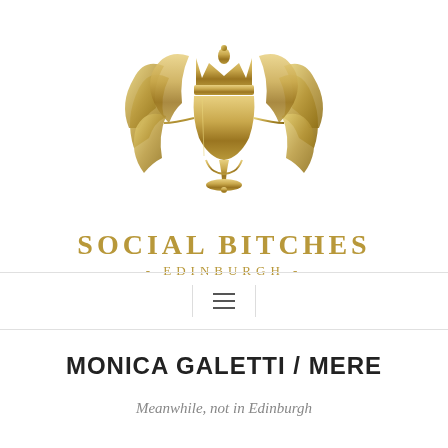[Figure (logo): Gold decorative logo featuring a chalice/goblet with a crown on top, flanked by thistle leaves with wing-like extensions, in gold gradient color.]
SOCIAL BITCHES - EDINBURGH -
[Figure (other): Hamburger menu icon (three horizontal lines) centered in a navigation bar with horizontal dividing lines above and below.]
MONICA GALETTI / MERE
Meanwhile, not in Edinburgh